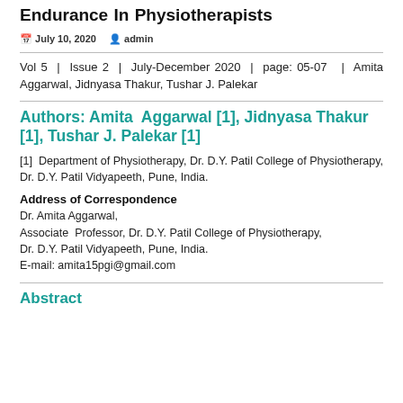Endurance In Physiotherapists
July 10, 2020  admin
Vol 5 | Issue 2 | July-December 2020 | page: 05-07 | Amita Aggarwal, Jidnyasa Thakur, Tushar J. Palekar
Authors: Amita Aggarwal [1], Jidnyasa Thakur [1], Tushar J. Palekar [1]
[1] Department of Physiotherapy, Dr. D.Y. Patil College of Physiotherapy, Dr. D.Y. Patil Vidyapeeth, Pune, India.
Address of Correspondence
Dr. Amita Aggarwal,
Associate Professor, Dr. D.Y. Patil College of Physiotherapy, Dr. D.Y. Patil Vidyapeeth, Pune, India.
E-mail: amita15pgi@gmail.com
Abstract